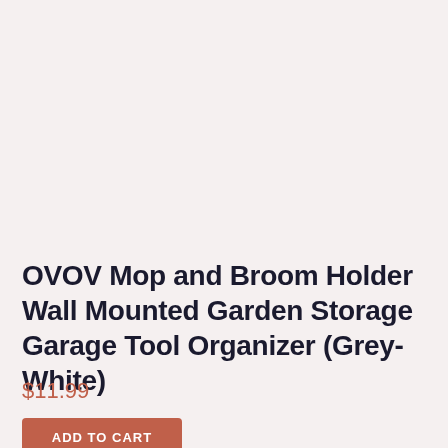OVOV Mop and Broom Holder Wall Mounted Garden Storage Garage Tool Organizer (Grey-White)
$11.99
ADD TO CART